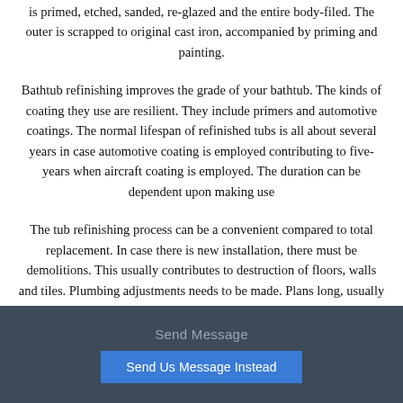is primed, etched, sanded, re-glazed and the entire body-filed. The outer is scrapped to original cast iron, accompanied by priming and painting.
Bathtub refinishing improves the grade of your bathtub. The kinds of coating they use are resilient. They include primers and automotive coatings. The normal lifespan of refinished tubs is all about several years in case automotive coating is employed contributing to five-years when aircraft coating is employed. The duration can be dependent upon making use
The tub refinishing process can be a convenient compared to total replacement. In case there is new installation, there must be demolitions. This usually contributes to destruction of floors, walls and tiles. Plumbing adjustments needs to be made. Plans long, usually takes a month. However, a tub reglaze job is commonly completed within hours, usually 4 to
Send Message
Send Us Message Instead